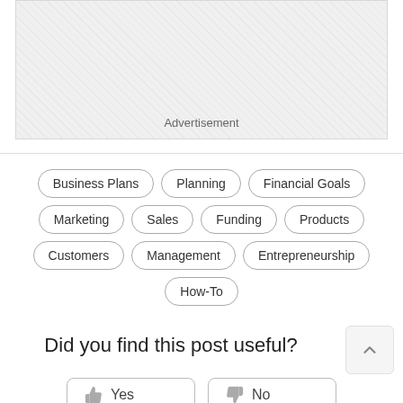[Figure (other): Advertisement placeholder box with diagonal hatching pattern]
Advertisement
Business Plans
Planning
Financial Goals
Marketing
Sales
Funding
Products
Customers
Management
Entrepreneurship
How-To
Did you find this post useful?